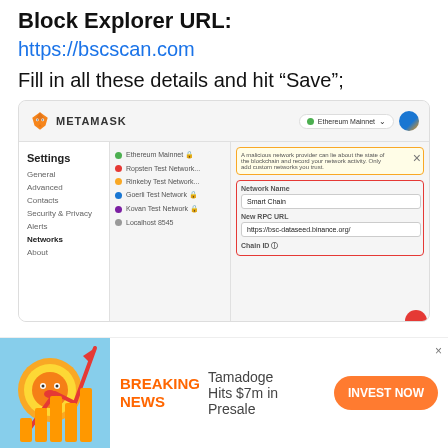Block Explorer URL:
https://bscscan.com
Fill in all these details and hit “Save”;
[Figure (screenshot): MetaMask browser extension settings panel showing network settings with Smart Chain network being added. Fields include Network Name: Smart Chain, New RPC URL: https://bsc-dataseed.binance.org/, and Chain ID. A warning about malicious network providers is visible.]
[Figure (infographic): Advertisement banner: Tamadoge Shiba Inu coin with rising bar chart arrow graphic. Text: BREAKING NEWS — Tamadoge Hits $7m in Presale. Orange INVEST NOW button.]